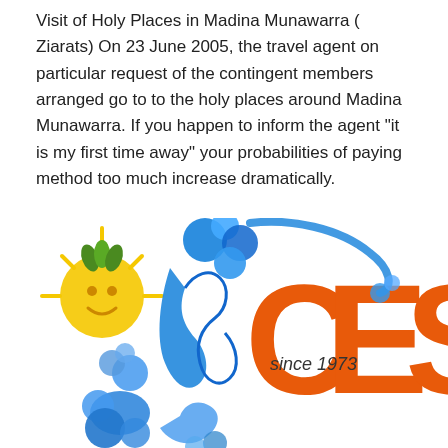Visit of Holy Places in Madina Munawarra ( Ziarats) On 23 June 2005, the travel agent on particular request of the contingent members arranged go to to the holy places around Madina Munawarra. If you happen to inform the agent "it is my first time away" your probabilities of paying method too much increase dramatically.
[Figure (logo): CES travel agency logo featuring blue decorative figure/bubbles, a yellow sun character on the left, large orange letters 'CES', and text 'since 1973' in the middle]